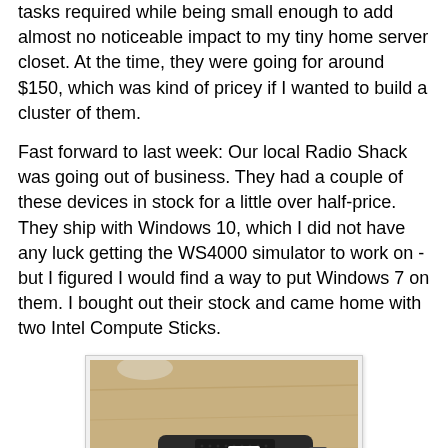tasks required while being small enough to add almost no noticeable impact to my tiny home server closet.  At the time, they were going for around $150, which was kind of pricey if I wanted to build a cluster of them.
Fast forward to last week: Our local Radio Shack was going out of business.  They had a couple of these devices in stock for a little over half-price.  They ship with Windows 10, which I did not have any luck getting the WS4000 simulator to work on - but I figured I would find a way to put Windows 7 on them.  I bought out their stock and came home with two Intel Compute Sticks.
[Figure (photo): A hand holding a small black Intel Compute Stick device against a wood-colored background. The stick has a label with '2' on it and an Intel logo.]
Turns out that the WS4000 simulator runs great on it, out of